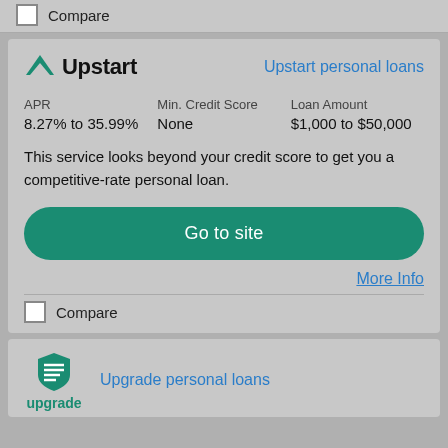Compare
[Figure (logo): Upstart logo — teal upward arrow icon followed by bold text 'Upstart']
Upstart personal loans
| APR | Min. Credit Score | Loan Amount |
| --- | --- | --- |
| 8.27% to 35.99% | None | $1,000 to $50,000 |
This service looks beyond your credit score to get you a competitive-rate personal loan.
Go to site
More Info
Compare
[Figure (logo): Upgrade logo — green shield icon with 'upgrade' text below in teal]
Upgrade personal loans